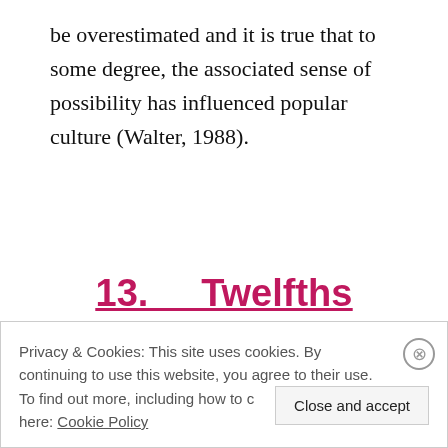be overestimated and it is true that to some degree, the associated sense of possibility has influenced popular culture (Walter, 1988).
13.    Twelfths Paragraph
Privacy & Cookies: This site uses cookies. By continuing to use this website, you agree to their use. To find out more, including how to control cookies, see here: Cookie Policy